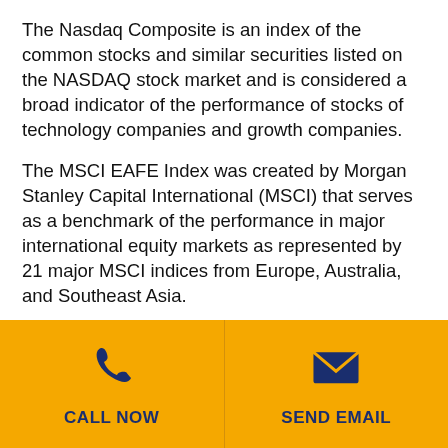The Nasdaq Composite is an index of the common stocks and similar securities listed on the NASDAQ stock market and is considered a broad indicator of the performance of stocks of technology companies and growth companies.
The MSCI EAFE Index was created by Morgan Stanley Capital International (MSCI) that serves as a benchmark of the performance in major international equity markets as represented by 21 major MSCI indices from Europe, Australia, and Southeast Asia.
The 10-year Treasury Note represents debt owed by the United States Treasury to the public. Since the U.S. Government is seen as a risk-free
[Figure (infographic): Footer bar with golden/amber background. Left half: phone icon and 'CALL NOW' label in navy. Right half: email icon and 'SEND EMAIL' label in navy. Separated by a vertical divider.]